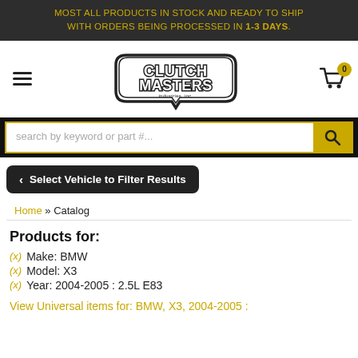MOST ALL PRODUCTS IN STOCK AND READY TO SHIP WITH ORDERS BEING PROCESSED IN 1-3 DAYS.
[Figure (logo): Clutch Masters Industries, Inc. logo with stylized text and bold outline]
search by keyword or part #...
< Select Vehicle to Filter Results
Home » Catalog
Products for:
(x) Make: BMW
(x) Model: X3
(x) Year: 2004-2005 : 2.5L E83
View Universal items for: BMW, X3, 2004-2005 :